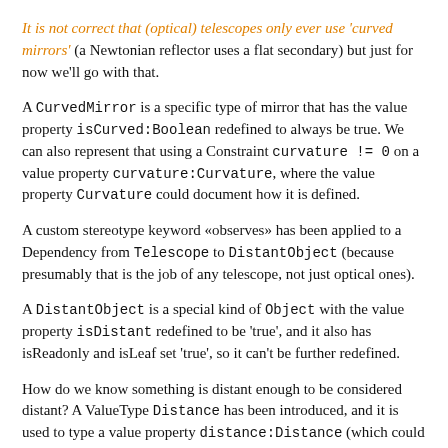It is not correct that (optical) telescopes only ever use 'curved mirrors' (a Newtonian reflector uses a flat secondary) but just for now we'll go with that.
A CurvedMirror is a specific type of mirror that has the value property isCurved:Boolean redefined to always be true. We can also represent that using a Constraint curvature != 0 on a value property curvature:Curvature, where the value property Curvature could document how it is defined.
A custom stereotype keyword «observes» has been applied to a Dependency from Telescope to DistantObject (because presumably that is the job of any telescope, not just optical ones).
A DistantObject is a special kind of Object with the value property isDistant redefined to be 'true', and it also has isReadonly and isLeaf set 'true', so it can't be further redefined.
How do we know something is distant enough to be considered distant? A ValueType Distance has been introduced, and it is used to type a value property distance:Distance (which could be used to determine